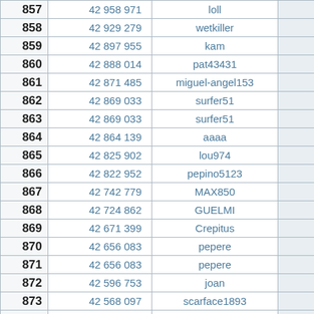| Rank | Score | Username |  |
| --- | --- | --- | --- |
| 857 | 42 958 971 | loll |  |
| 858 | 42 929 279 | wetkiller |  |
| 859 | 42 897 955 | kam |  |
| 860 | 42 888 014 | pat43431 |  |
| 861 | 42 871 485 | miguel-angel153 |  |
| 862 | 42 869 033 | surfer51 |  |
| 863 | 42 869 033 | surfer51 |  |
| 864 | 42 864 139 | aaaa |  |
| 865 | 42 825 902 | lou974 |  |
| 866 | 42 822 952 | pepino5123 |  |
| 867 | 42 742 779 | MAX850 |  |
| 868 | 42 724 862 | GUELMI |  |
| 869 | 42 671 399 | Crepitus |  |
| 870 | 42 656 083 | pepere |  |
| 871 | 42 656 083 | pepere |  |
| 872 | 42 596 753 | joan |  |
| 873 | 42 568 097 | scarface1893 |  |
| 874 | 42 567 261 | 1224 |  |